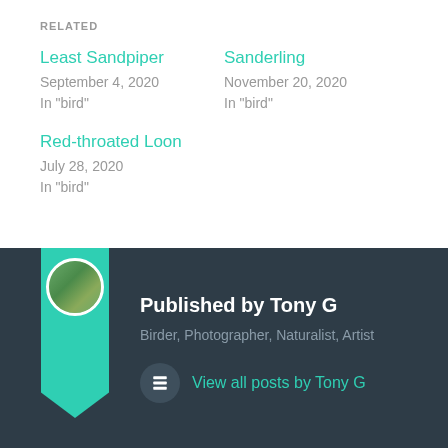RELATED
Least Sandpiper
September 4, 2020
In "bird"
Sanderling
November 20, 2020
In "bird"
Red-throated Loon
July 28, 2020
In "bird"
Published by Tony G
Birder, Photographer, Naturalist, Artist
View all posts by Tony G